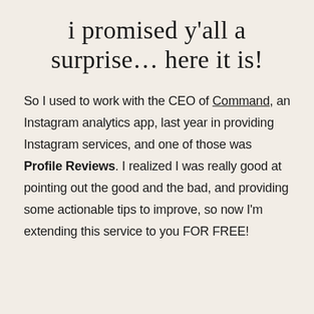i promised y'all a surprise… here it is!
So I used to work with the CEO of Command, an Instagram analytics app, last year in providing Instagram services, and one of those was Profile Reviews. I realized I was really good at pointing out the good and the bad, and providing some actionable tips to improve, so now I'm extending this service to you FOR FREE!